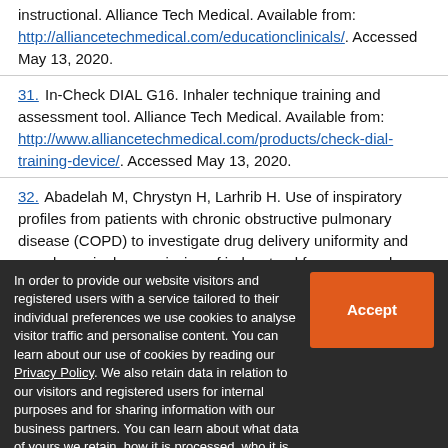instructional. Alliance Tech Medical. Available from: http://alliancetechmedical.com/educationclinicals/. Accessed May 13, 2020.
31. In-Check DIAL G16. Inhaler technique training and assessment tool. Alliance Tech Medical. Available from: http://www.alliancetechmedical.com/products/check-dial-training-device/. Accessed May 13, 2020.
32. Abadelah M, Chrystyn H, Larhrib H. Use of inspiratory profiles from patients with chronic obstructive pulmonary disease (COPD) to investigate drug delivery uniformity and aerodynamic dose emission of indacaterol from a capsule based dry powder inhaler. Eur J Pharm Sci. 2019;134:133–
In order to provide our website visitors and registered users with a service tailored to their individual preferences we use cookies to analyse visitor traffic and personalise content. You can learn about our use of cookies by reading our Privacy Policy. We also retain data in relation to our visitors and registered users for internal purposes and for sharing information with our business partners. You can learn about what data of yours we retain, how it is processed, who it is shared with and your right to have your data deleted by reading our Privacy Policy.

If you agree to our use of cookies and the contents of our Privacy Policy please click 'accept'.